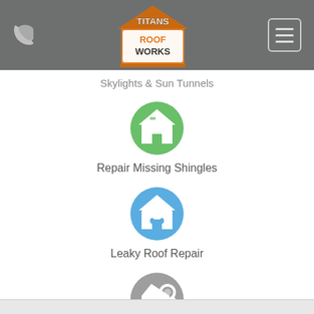Titans Roof Works — navigation header with phone icon and hamburger menu
Skylights & Sun Tunnels
[Figure (illustration): Green circular icon with a white house/roof symbol representing Repair Missing Shingles]
Repair Missing Shingles
[Figure (illustration): Blue circular icon with a white house and water drops representing Leaky Roof Repair]
Leaky Roof Repair
[Figure (illustration): Gray circular icon with a magnifying glass and house representing Roof Inspections]
Roof Inspections